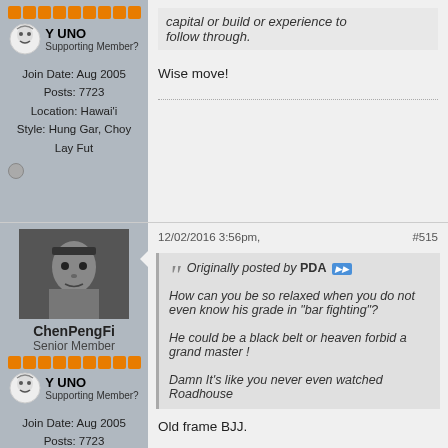capital or build or experience to follow through.
Wise move!
12/02/2016 3:56pm,   #515
[Figure (photo): Avatar photo of ChenPengFi - a man in traditional costume with a headband]
ChenPengFi
Senior Member
Join Date: Aug 2005
Posts: 7723
Location: Hawai'i
Style: Hung Gar, Choy Lay Fut
Originally posted by PDA
How can you be so relaxed when you do not even know his grade in "bar fighting"?
He could be a black belt or heaven forbid a grand master !
Damn It's like you never even watched Roadhouse
Old frame BJJ.